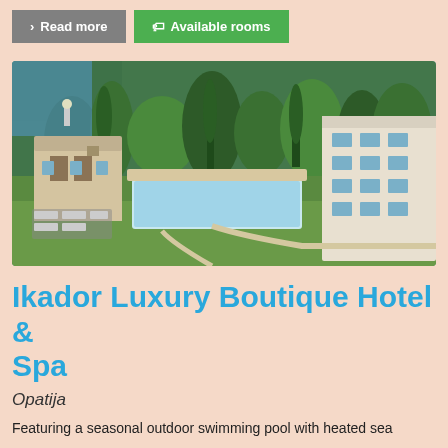> Read more
Available rooms
[Figure (photo): Aerial view of Ikador Luxury Boutique Hotel & Spa in Opatija, showing an outdoor swimming pool, lush greenery, a classic villa, and a modern hotel building by the sea.]
Ikador Luxury Boutique Hotel & Spa
Opatija
Featuring a seasonal outdoor swimming pool with heated sea